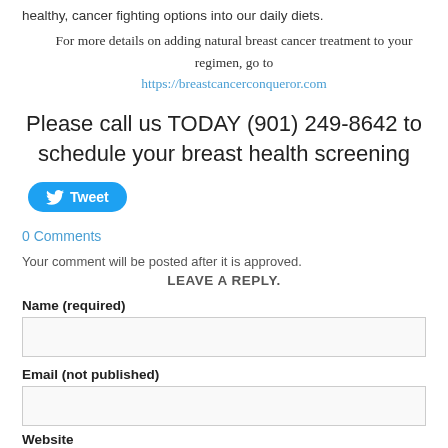healthy, cancer fighting options into our daily diets.
For more details on adding natural breast cancer treatment to your regimen, go to https://breastcancerconqueror.com
Please call us TODAY (901) 249-8642 to schedule your breast health screening
[Figure (other): Blue Twitter Tweet button with bird icon]
0 Comments
Your comment will be posted after it is approved.
LEAVE A REPLY.
Name (required)
Email (not published)
Website